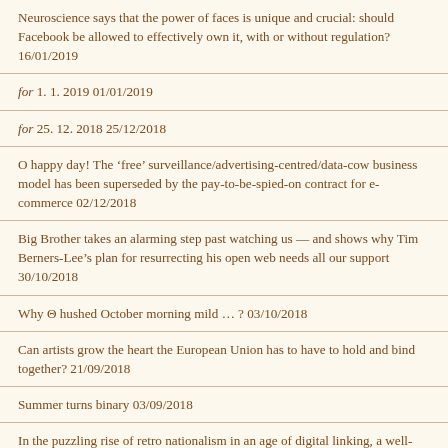Neuroscience says that the power of faces is unique and crucial: should Facebook be allowed to effectively own it, with or without regulation? 16/01/2019
for 1. 1. 2019 01/01/2019
for 25. 12. 2018 25/12/2018
O happy day! The ‘free’ surveillance/advertising-centred/data-cow business model has been superseded by the pay-to-be-spied-on contract for e-commerce 02/12/2018
Big Brother takes an alarming step past watching us — and shows why Tim Berners-Lee’s plan for resurrecting his open web needs all our support 30/10/2018
Why Θ hushed October morning mild … ? 03/10/2018
Can artists grow the heart the European Union has to have to hold and bind together? 21/09/2018
Summer turns binary 03/09/2018
In the puzzling rise of retro nationalism in an age of digital linking, a well-argued warning by Spain’s most famous philosopher is being ignored — again 27/08/2018